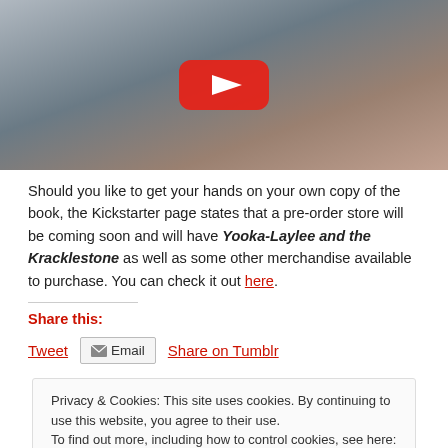[Figure (screenshot): YouTube video thumbnail showing a person holding a book/card with a red game controller design, with a YouTube play button overlay in the center.]
Should you like to get your hands on your own copy of the book, the Kickstarter page states that a pre-order store will be coming soon and will have Yooka-Laylee and the Kracklestone as well as some other merchandise available to purchase. You can check it out here.
Share this:
Tweet   Email   Share on Tumblr
Privacy & Cookies: This site uses cookies. By continuing to use this website, you agree to their use.
To find out more, including how to control cookies, see here: Cookie Policy